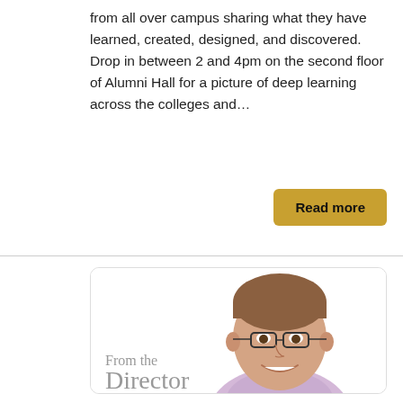from all over campus sharing what they have learned, created, designed, and discovered. Drop in between 2 and 4pm on the second floor of Alumni Hall for a picture of deep learning across the colleges and...
Read more
[Figure (photo): Card with a photo of a smiling man with glasses wearing a light purple shirt, with text overlay reading 'From the Director' in a serif gray font.]